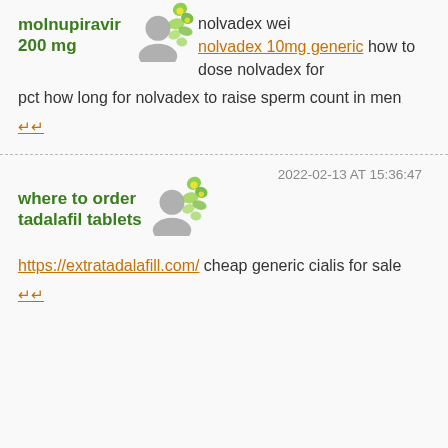molnupiravir 200 mg
nolvadex wei nolvadex 10mg generic how to dose nolvadex for pct how long for nolvadex to raise sperm count in men
↵↵ (reply link)
2022-02-13 AT 15:36:47
where to order tadalafil tablets
https://extratadalafill.com/ cheap generic cialis for sale
↵↵ (reply link)